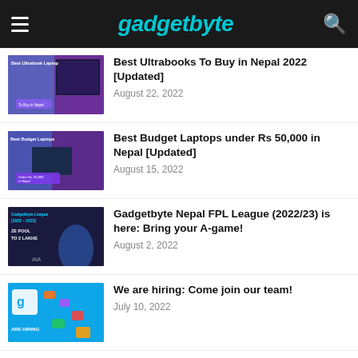gadgetbyte
Best Ultrabooks To Buy in Nepal 2022 [Updated]
August 22, 2022
Best Budget Laptops under Rs 50,000 in Nepal [Updated]
August 15, 2022
Gadgetbyte Nepal FPL League (2022/23) is here: Bring your A-game!
August 2, 2022
We are hiring: Come join our team!
July 10, 2022
Best Laptops Under Rs. 60,000 in Nepal